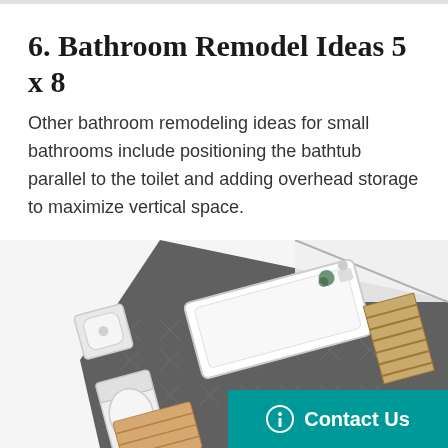6. Bathroom Remodel Ideas 5 x 8
Other bathroom remodeling ideas for small bathrooms include positioning the bathtub parallel to the toilet and adding overhead storage to maximize vertical space.
[Figure (photo): Overhead/top-down view of a 5x8 bathroom layout showing a bathtub, toilet area, sink, and wooden storage rack on dark gray tile floor]
Contact Us